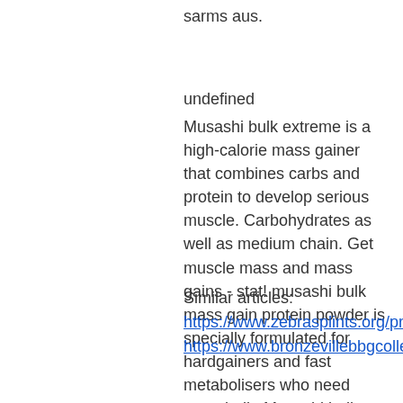sarms aus.
undefined
Musashi bulk extreme is a high-calorie mass gainer that combines carbs and protein to develop serious muscle. Carbohydrates as well as medium chain. Get muscle mass and mass gains - stat! musashi bulk mass gain protein powder is specially formulated for hardgainers and fast metabolisers who need more bulk. Musashi bulk extreme is a scientifically formulated nutritional supplement for hard gainers and growing adolescents looking to pack on serious mass
Similar articles:
https://www.zebrasplints.org/profile/tyronegernatt13137816/profile
https://www.bronzevillebbgcollective.org/profile/debrahgum16041926/profile